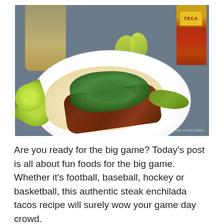[Figure (photo): A flour tortilla taco filled with seasoned steak strips (carne asada/enchilada style), topped with fresh cilantro, diced onion, and avocado slices, served on a white plate with lime wedges. A glass of beer and a Tecate beer bottle are visible in the background.]
Are you ready for the big game?  Today's post is all about fun foods for the big game.  Whether it's football, baseball, hockey or basketball, this authentic steak enchilada tacos recipe will surely wow your game day crowd.